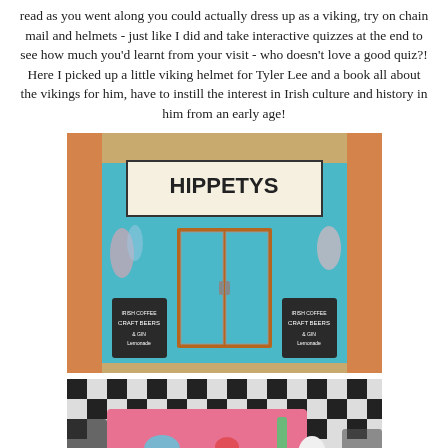read as you went along you could actually dress up as a viking, try on chain mail and helmets - just like I did and take interactive quizzes at the end to see how much you'd learnt from your visit - who doesn't love a good quiz?! Here I picked up a little viking helmet for Tyler Lee and a book all about the vikings for him, have to instill the interest in Irish culture and history in him from an early age!
[Figure (photo): Exterior of Hippetys shop/cafe with bright blue facade, painted murals, turquoise double doors, and chalkboard signs advertising Irish coffee, craft beers, and lemonade.]
[Figure (photo): Interior of Hippetys showing a colorful pink table with decorative motifs, black and white checkered floor, and chairs.]